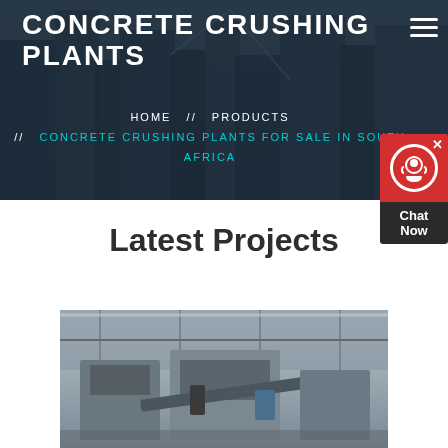CONCRETE CRUSHING PLANTS
HOME  //  PRODUCTS  //  CONCRETE CRUSHING PLANTS FOR SALE IN SOUTH AFRICA
[Figure (other): Chat Now widget with red background and headset icon]
Latest Projects
[Figure (photo): Industrial concrete crushing plant machinery inside a large facility with steel framework and conveyor equipment]